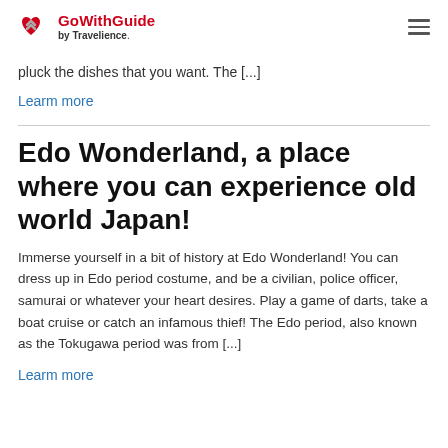GoWithGuide by Travelience.
pluck the dishes that you want. The [...]
Learm more
Edo Wonderland, a place where you can experience old world Japan!
Immerse yourself in a bit of history at Edo Wonderland! You can dress up in Edo period costume, and be a civilian, police officer, samurai or whatever your heart desires. Play a game of darts, take a boat cruise or catch an infamous thief! The Edo period, also known as the Tokugawa period was from [...]
Learm more